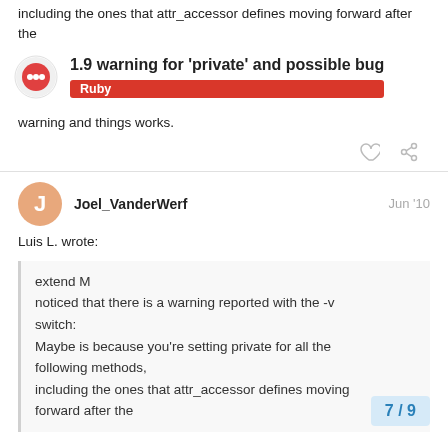including the ones that attr_accessor defines moving forward after the
1.9 warning for 'private' and possible bug
Ruby
warning and things works.
Joel_VanderWerf   Jun '10
Luis L. wrote:
extend M
noticed that there is a warning reported with the -v switch:
Maybe is because you're setting private for all the following methods,
including the ones that attr_accessor defines moving forward after the